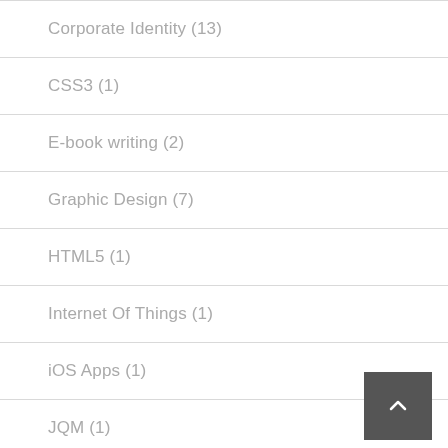Corporate Identity (13)
CSS3 (1)
E-book writing (2)
Graphic Design (7)
HTML5 (1)
Internet Of Things (1)
iOS Apps (1)
JQM (1)
JQuery (1)
Logo Design (7)